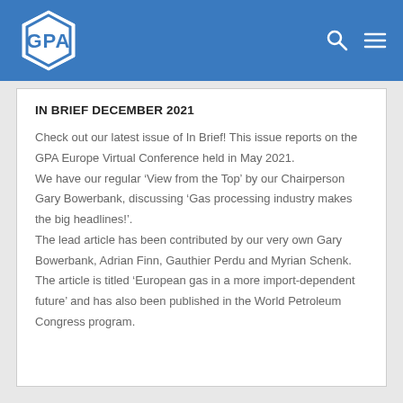GPA Europe
IN BRIEF DECEMBER 2021
Check out our latest issue of In Brief! This issue reports on the GPA Europe Virtual Conference held in May 2021. We have our regular ‘View from the Top’ by our Chairperson Gary Bowerbank, discussing ‘Gas processing industry makes the big headlines!’. The lead article has been contributed by our very own Gary Bowerbank, Adrian Finn, Gauthier Perdu and Myrian Schenk. The article is titled ‘European gas in a more import-dependent future’ and has also been published in the World Petroleum Congress program.